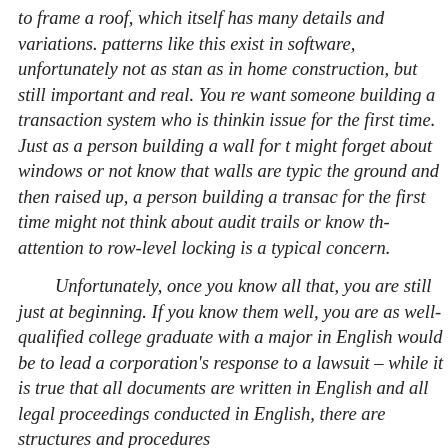to frame a roof, which itself has many details and variations. patterns like this exist in software, unfortunately not as standardized as in home construction, but still important and real. You really want someone building a transaction system who is thinking about this issue for the first time. Just as a person building a wall for the first time might forget about windows or not know that walls are typically built on the ground and then raised up, a person building a transaction system for the first time might not think about audit trails or know that paying attention to row-level locking is a typical concern.

Unfortunately, once you know all that, you are still just at the beginning. If you know them well, you are as well-qualified as a college graduate with a major in English would be to lead a large corporation's response to a lawsuit – while it is true that all legal documents are written in English and all legal proceedings are conducted in English, there are structures and procedures